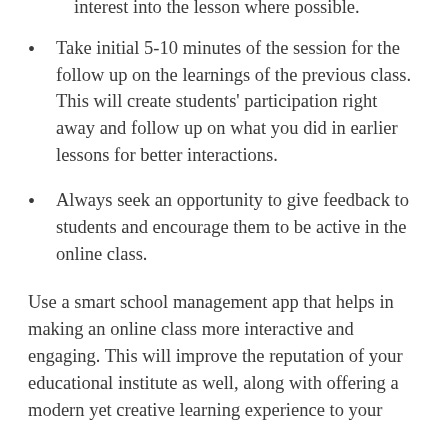Emphasize on incorporating students' interest into the lesson where possible.
Take initial 5-10 minutes of the session for the follow up on the learnings of the previous class. This will create students' participation right away and follow up on what you did in earlier lessons for better interactions.
Always seek an opportunity to give feedback to students and encourage them to be active in the online class.
Use a smart school management app that helps in making an online class more interactive and engaging. This will improve the reputation of your educational institute as well, along with offering a modern yet creative learning experience to your